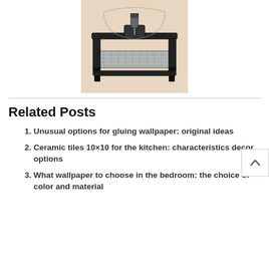[Figure (photo): A CNC milling/engraving machine with black frame and aluminum bed, shown on a beige/peach background.]
Related Posts
Unusual options for gluing wallpaper: original ideas
Ceramic tiles 10×10 for the kitchen: characteristics decor options
What wallpaper to choose in the bedroom: the choice of color and material